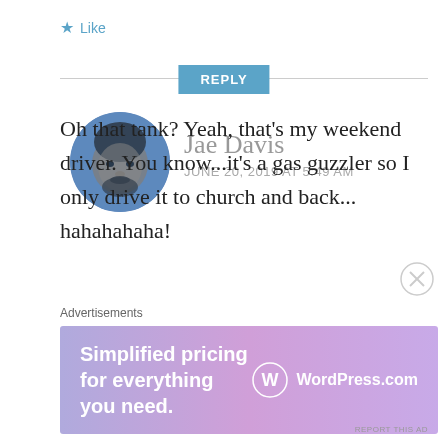★ Like
REPLY
[Figure (photo): Circular avatar photo of Jae Davis, a man with a beard, with a blue tint overlay]
Jae Davis
JUNE 20, 2019 AT 5:49 AM
Oh that tank? Yeah, that's my weekend driver. You know...it's a gas guzzler so I only drive it to church and back... hahahahaha!
Advertisements
[Figure (screenshot): WordPress.com advertisement banner with gradient purple/blue background. Text reads: Simplified pricing for everything you need. WordPress.com logo on right.]